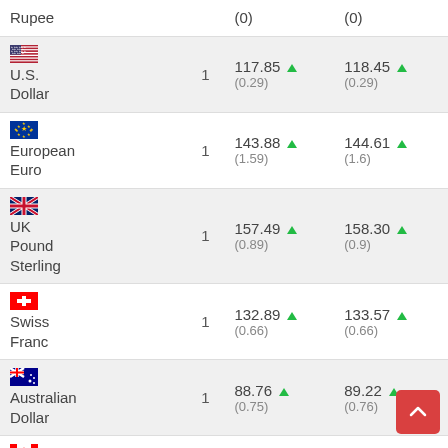| Currency | Qty | Buy | Sell |
| --- | --- | --- | --- |
| Rupee |  | (0) | (0) |
| U.S. Dollar | 1 | 117.85 ▲ (0.29) | 118.45 ▲ (0.29) |
| European Euro | 1 | 143.88 ▲ (1.59) | 144.61 ▲ (1.6) |
| UK Pound Sterling | 1 | 157.49 ▲ (0.89) | 158.30 ▲ (0.9) |
| Swiss Franc | 1 | 132.89 ▲ (0.66) | 133.57 ▲ (0.66) |
| Australian Dollar | 1 | 88.76 ▲ (0.75) | 89.22 ▲ (0.76) |
| Canadian Dollar | 1 | 91.46 ▼ | 91.92 ▼ |